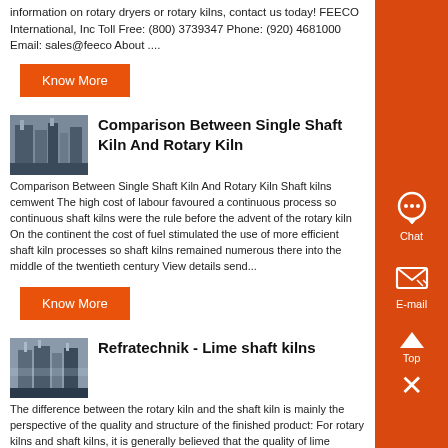information on rotary dryers or rotary kilns, contact us today! FEECO International, Inc Toll Free: (800) 3739347 Phone: (920) 4681000 Email: sales@feeco About ....
Know More
[Figure (photo): Industrial facility with kilns and equipment]
Comparison Between Single Shaft Kiln And Rotary Kiln
Comparison Between Single Shaft Kiln And Rotary Kiln Shaft kilns cemwent The high cost of labour favoured a continuous process so continuous shaft kilns were the rule before the advent of the rotary kiln On the continent the cost of fuel stimulated the use of more efficient shaft kiln processes so shaft kilns remained numerous there into the middle of the twentieth century View details send...
Know More
[Figure (photo): Industrial lime shaft kiln facility]
Refratechnik - Lime shaft kilns
The difference between the rotary kiln and the shaft kiln is mainly the perspective of the quality and structure of the finished product: For rotary kilns and shaft kilns, it is generally believed that the quality of lime produced by rotary kilns is better, and limestone with smaller particle size can be calcined; while the quality of lime produced by